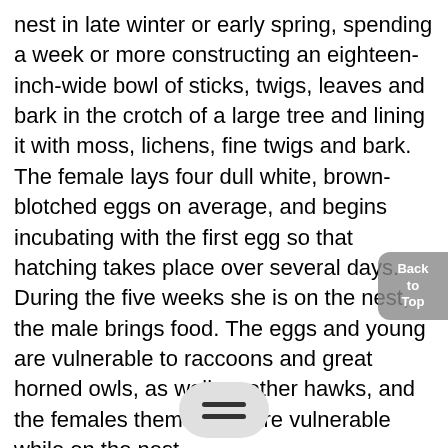nest in late winter or early spring, spending a week or more constructing an eighteen-inch-wide bowl of sticks, twigs, leaves and bark in the crotch of a large tree and lining it with moss, lichens, fine twigs and bark. The female lays four dull white, brown-blotched eggs on average, and begins incubating with the first egg so that hatching takes place over several days. During the five weeks she is on the nest, the male brings food. The eggs and young are vulnerable to raccoons and great horned owls, as well as other hawks, and the females themselves are vulnerable while on the nest.
Once the young are hatched, both male and female bring them food. The young, helpfully enough, can project their waste over the top of the nest and onto the ground. They fledge at five to six weeks, although it takes another two or three weeks before they have any real facility at capturing their own food.
"Most of the red-shouldere[d hawks in South Carolina] are resident birds," says Elliot[t, ...] o move, but those may